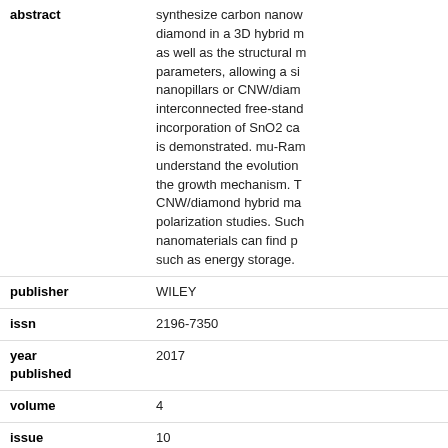| Field | Value |
| --- | --- |
| abstract | synthesize carbon nanow diamond in a 3D hybrid m as well as the structural m parameters, allowing a si nanopillars or CNW/diam interconnected free-stand incorporation of SnO2 ca is demonstrated. mu-Ram understand the evolution the growth mechanism. T CNW/diamond hybrid ma polarization studies. Such nanomaterials can find p such as energy storage. |
| publisher | WILEY |
| issn | 2196-7350 |
| year published | 2017 |
| volume | 4 |
| issue | 10 |
| digital object identifier (doi) | 10.1002/admi.201700019 |
| web of science category | Chemistry, Multidisciplina |
| subject category | Chemistry; Materials Scie |